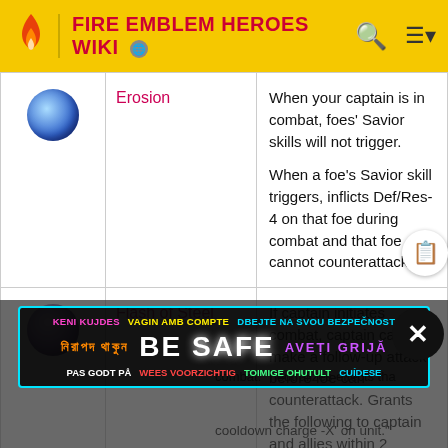FIRE EMBLEM HEROES WIKI
| Icon | Name | Description |
| --- | --- | --- |
| [Erosion icon] | Erosion | When your captain is in combat, foes' Savior skills will not trigger.

When a foe's Savior skill triggers, inflicts Def/Res-4 on that foe during combat and that foe cannot counterattack. |
| [Flash of Steel icon] | Flash of Steel | If captain initiates combat, captain can make a follow-up attack before foe can counterattack. Grants the following to captain and allies within 2 spaces of captain during combat: "neutralizes effects that... cooldown charge -X' on unit." |
[Figure (infographic): Safety banner overlay reading BE SAFE in multiple languages including: KENI KUJDES, VAGIN AMB COMPTE, DBEJTE NA SVOU BEZPECNOST, Bengali text, AVETI GRIJA, PAS GODT PA, WEES VOORZICHTIG, TOIMIGE OHUTULT, CUIDESE]